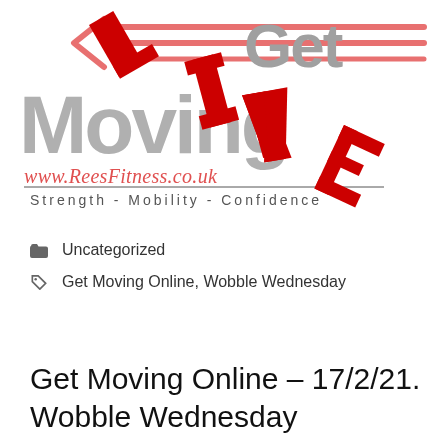[Figure (logo): Rees Fitness 'Get Moving Live' logo with red speed-line arrows, large grey 'Get Moving' text, red italic 'LIVE' letters overlaid, red italic URL www.ReesFitness.co.uk, and tagline 'Strength - Mobility - Confidence']
Uncategorized
Get Moving Online, Wobble Wednesday
Get Moving Online – 17/2/21. Wobble Wednesday